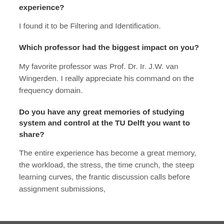experience?
I found it to be Filtering and Identification.
Which professor had the biggest impact on you?
My favorite professor was Prof. Dr. Ir. J.W. van Wingerden. I really appreciate his command on the frequency domain.
Do you have any great memories of studying system and control at the TU Delft you want to share?
The entire experience has become a great memory, the workload, the stress, the time crunch, the steep learning curves, the frantic discussion calls before assignment submissions,